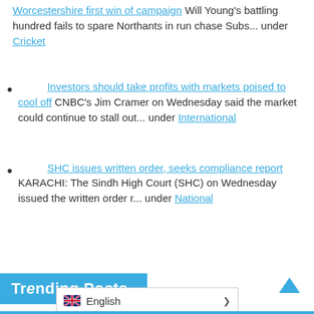[Worcestershire first win of campaign link] Will Young's battling hundred fails to spare Northants in run chase Subs... under Cricket
[Investors should take profits with markets poised to cool off link] CNBC's Jim Cramer on Wednesday said the market could continue to stall out... under International
[SHC issues written order, seeks compliance report link] KARACHI: The Sindh High Court (SHC) on Wednesday issued the written order r... under National
Trending Posts | English